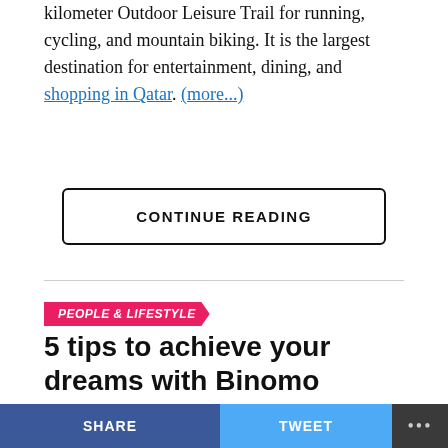kilometer Outdoor Leisure Trail for running, cycling, and mountain biking. It is the largest destination for entertainment, dining, and shopping in Qatar. (more...)
CONTINUE READING
PEOPLE & LIFESTYLE
5 tips to achieve your dreams with Binomo
Published 20 hours ago on August 24, 2022
SHARE   TWEET   •••